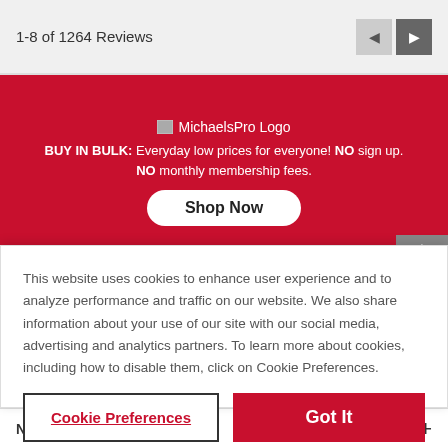1-8 of 1264 Reviews
[Figure (screenshot): MichaelsPro Logo placeholder image]
BUY IN BULK: Everyday low prices for everyone! NO sign up. NO monthly membership fees.
Shop Now
This website uses cookies to enhance user experience and to analyze performance and traffic on our website. We also share information about your use of our site with our social media, advertising and analytics partners. To learn more about cookies, including how to disable them, click on Cookie Preferences.
Cookie Preferences
Got It
NEED HELP?